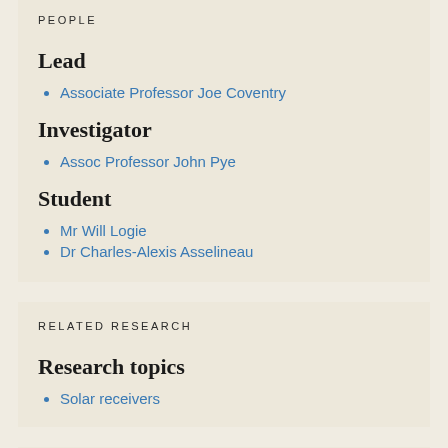PEOPLE
Lead
Associate Professor Joe Coventry
Investigator
Assoc Professor John Pye
Student
Mr Will Logie
Dr Charles-Alexis Asselineau
RELATED RESEARCH
Research topics
Solar receivers
COLLABORATORS